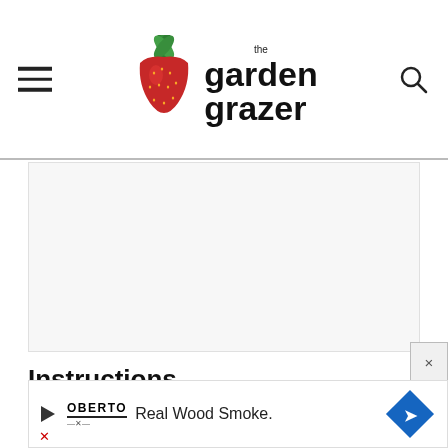the garden grazer
[Figure (illustration): White content/image placeholder area below the header]
Instructions
1. Dice onion and carrot.
2. In a stockpot over medium-high heat, sauté onion and carrot for about 7-8
[Figure (other): Advertisement banner: Oberto Real Wood Smoke.]